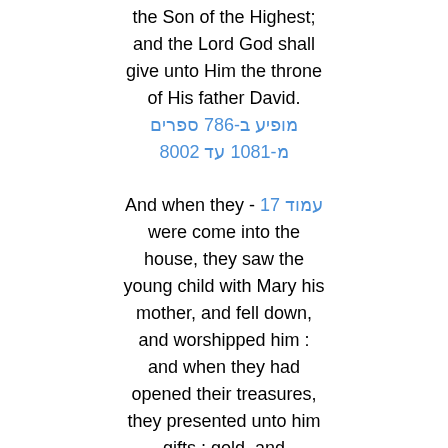the Son of the Highest; and the Lord God shall give unto Him the throne of His father David.
מופיע ב-687 ספרים מ-1801 עד 2008
And when they - עמוד 17 were come into the house, they saw the young child with Mary his mother, and fell down, and worshipped him : and when they had opened their treasures, they presented unto him gifts ; gold, and frankincense, and myrrh.
מופיע ב-878 ספרים מ-1755 עד 2008
And that - עמוד 166 servant which knew his